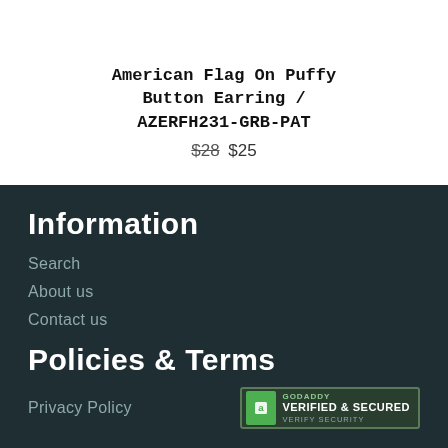American Flag On Puffy Button Earring / AZERFH231-GRB-PAT
$28 $25
Information
Search
About us
Contact us
Policies & Terms
Privacy Policy